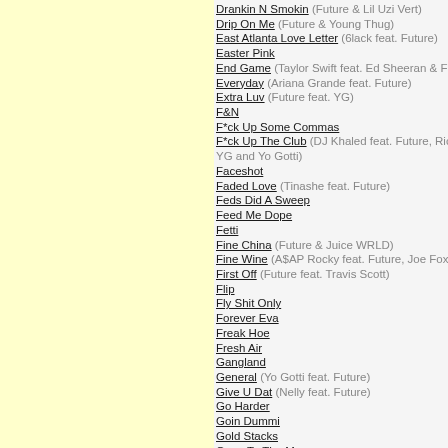Drankin N Smokin (Future & Lil Uzi Vert)
Drip On Me (Future & Young Thug)
East Atlanta Love Letter (6lack feat. Future)
Easter Pink
End Game (Taylor Swift feat. Ed Sheeran & Future)
Everyday (Ariana Grande feat. Future)
Extra Luv (Future feat. YG)
F&N
F*ck Up Some Commas
F*ck Up The Club (DJ Khaled feat. Future, Rick Ross, YG and Yo Gotti)
Faceshot
Faded Love (Tinashe feat. Future)
Feds Did A Sweep
Feed Me Dope
Fetti
Fine China (Future & Juice WRLD)
Fine Wine (A$AP Rocky feat. Future, Joe Fox & M...)
First Off (Future feat. Travis Scott)
Flip
Fly Shit Only
Forever Eva
Freak Hoe
Fresh Air
Gangland
General (Yo Gotti feat. Future)
Give U Dat (Nelly feat. Future)
Go Harder
Goin Dummi
Gold Stacks
Gone To The Moon
Good Dope
Grammys (Drake feat. Future)
Group Home (Future & Young Thug)
Groupies
Hallucinating
Happiness Over Everything (H.O.E.) (Jhené Aiko Future & Miguel)